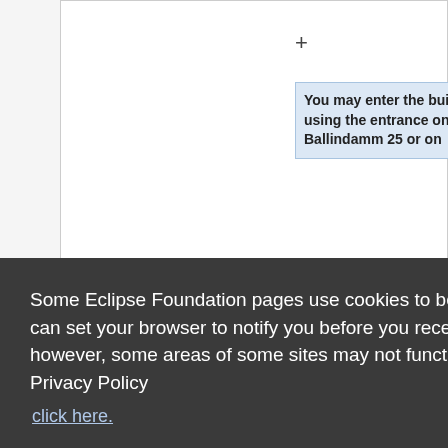You may enter the building using the entrance on Ballindamm 25 or on
Some Eclipse Foundation pages use cookies to better serve you when you return to the site. You can set your browser to notify you before you receive a cookie or turn off cookies. If you do so, however, some areas of some sites may not function properly. To read Eclipse Foundation Privacy Policy
click here.
Decline
Allow cookies